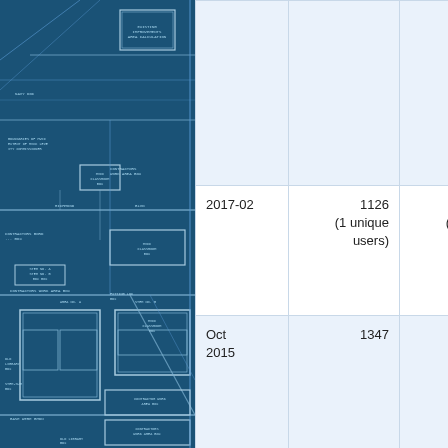[Figure (illustration): Blueprint/architectural floor plan diagram with white lines on dark blue background showing building layout with room labels and contractor notes]
| Date | Views | Unique downloads |
| --- | --- | --- |
|  |  |  |
| 2017-02 | 1126
(1 unique users) | 0
(0 unique users) |
| Oct 2015 | 1347 | 0 |